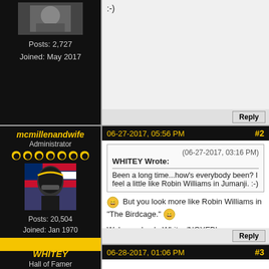[Figure (screenshot): Forum thread page showing user posts. Top row: left panel shows user avatar (partial), Posts: 2,727, Joined: May 2017, yellow bar. Right panel shows partial post text ':-)' and Reply button. Middle row: left panel shows username 'mcmillenandwife', Administrator, Steelers helmet icons, avatar photo, Posts: 20,504, Joined: Jan 1970, yellow bar. Right panel shows post #2 dated 06-27-2017 05:56 PM with quote from WHITEY and reply text. Bottom row: left panel shows 'WHITEY', Hall of Famer. Right panel shows post #3 header dated 06-28-2017 01:06 PM.]